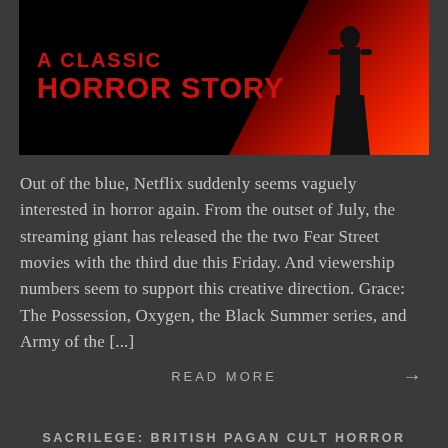[Figure (photo): Movie poster for 'A Classic Horror Story' with red title text on black background and a red-lit silhouette figure on the right side]
Out of the blue, Netflix suddenly seems vaguely interested in horror again. From the outset of July, the streaming giant has released the the two Fear Street movies with the third due this Friday. And viewership numbers seem to support this creative direction. Grace: The Possession, Oxygen, the Black Summer series, and Army of the [...]
READ MORE →
SACRILEGE: BRITISH PAGAN CULT HORROR